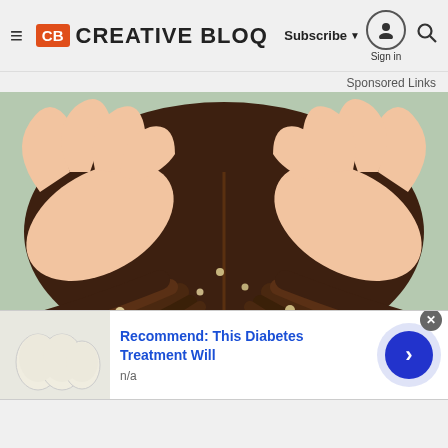Creative Bloq — Subscribe | Sign in | Search
Sponsored Links
[Figure (illustration): Illustrated close-up of two hands parting brown hair to examine scalp, showing small white lice eggs/nits on hair strands against a light green background.]
Recommend: This Diabetes Treatment Will
n/a